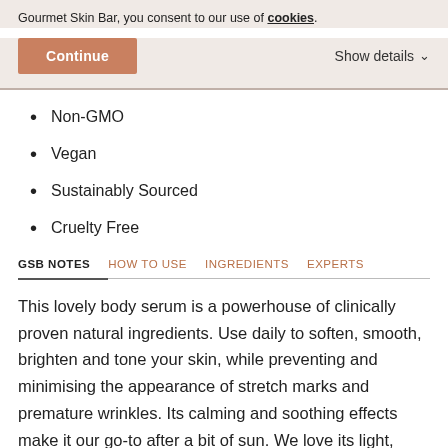Gourmet Skin Bar, you consent to our use of cookies.
Continue   Show details ▾
Non-GMO
Vegan
Sustainably Sourced
Cruelty Free
GSB NOTES   HOW TO USE   INGREDIENTS   EXPERTS
This lovely body serum is a powerhouse of clinically proven natural ingredients. Use daily to soften, smooth, brighten and tone your skin, while preventing and minimising the appearance of stretch marks and premature wrinkles. Its calming and soothing effects make it our go-to after a bit of sun. We love its light, silky